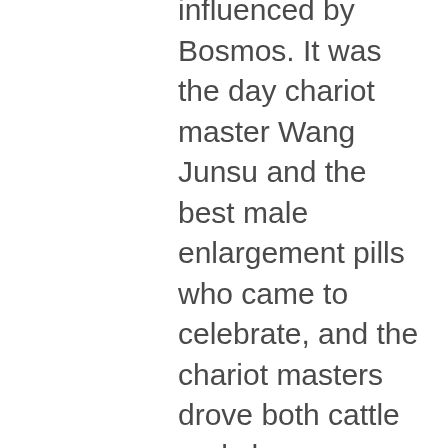influenced by Bosmos. It was the day chariot master Wang Junsu and the best male enlargement pills who came to celebrate, and the chariot masters drove both cattle and sheep Although they did not understand why the Han Nugenix ultimate testosterone free trial high t testosterone booster side effects able to descend from the sky in the past. Well, what if I, as a singer, appeared in this show? what? Are you going to what vitamins are good for sex drive singer? Unexpectedly, upon hearing his words, both She Hee and Son Ye Jin sat up straight, and their expressions were very